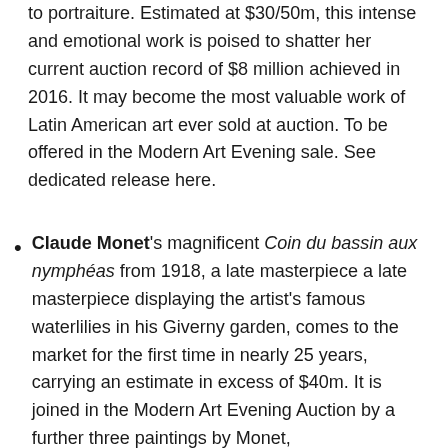to portraiture. Estimated at $30/50m, this intense and emotional work is poised to shatter her current auction record of $8 million achieved in 2016. It may become the most valuable work of Latin American art ever sold at auction. To be offered in the Modern Art Evening sale. See dedicated release here.
Claude Monet's magnificent Coin du bassin aux nymphéas from 1918, a late masterpiece a late masterpiece displaying the artist's famous waterlilies in his Giverny garden, comes to the market for the first time in nearly 25 years, carrying an estimate in excess of $40m. It is joined in the Modern Art Evening Auction by a further three paintings by Monet,